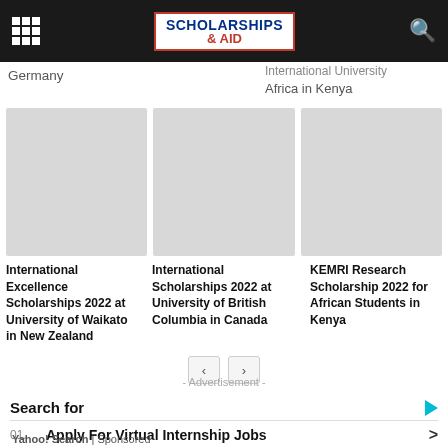SCHOLARSHIPS & AID
Germany
International University Africa in Kenya
[Figure (illustration): Three image placeholders for scholarship articles]
International Excellence Scholarships 2022 at University of Waikato in New Zealand
International Scholarships 2022 at University of British Columbia in Canada
KEMRI Research Scholarship 2022 for African Students in Kenya
- Advertisement -
Search for
01. Apply For Virtual Internship Jobs
02. Internships For Students
Yahoo! Search | Sponsored